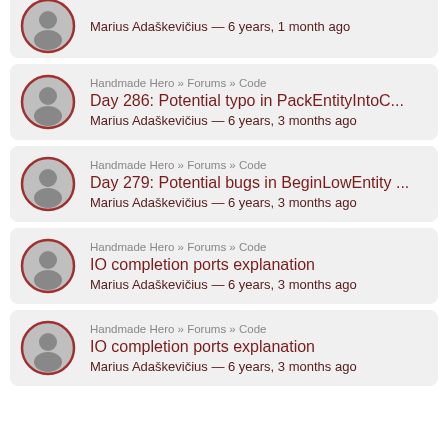Marius Adaškevičius — 6 years, 1 month ago
Handmade Hero » Forums » Code | Day 286: Potential typo in PackEntityIntoC... | Marius Adaškevičius — 6 years, 3 months ago
Handmade Hero » Forums » Code | Day 279: Potential bugs in BeginLowEntity ... | Marius Adaškevičius — 6 years, 3 months ago
Handmade Hero » Forums » Code | IO completion ports explanation | Marius Adaškevičius — 6 years, 3 months ago
Handmade Hero » Forums » Code | IO completion ports explanation | Marius Adaškevičius — 6 years, 3 months ago